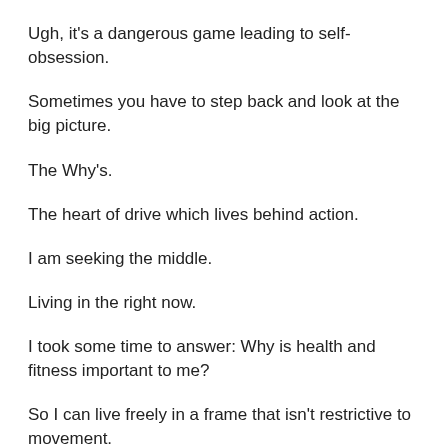Ugh, it's a dangerous game leading to self-obsession.
Sometimes you have to step back and look at the big picture.
The Why's.
The heart of drive which lives behind action.
I am seeking the middle.
Living in the right now.
I took some time to answer: Why is health and fitness important to me?
So I can live freely in a frame that isn't restrictive to movement.